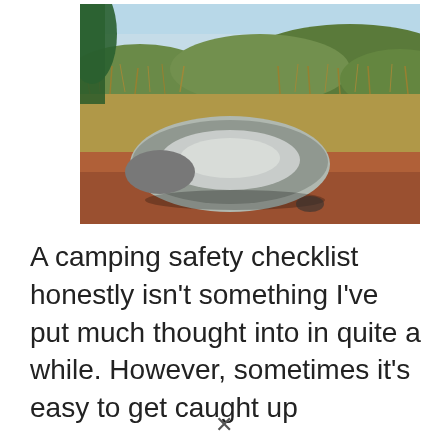[Figure (photo): A camping tent pitched on red/brown dirt ground with tall dry grass and green hills in the background under a light blue sky. The tent is grey and white, lying somewhat flat on the ground.]
A camping safety checklist honestly isn't something I've put much thought into in quite a while. However, sometimes it's easy to get caught up